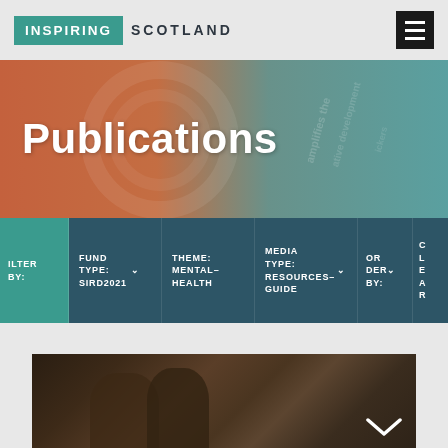[Figure (logo): Inspiring Scotland logo — teal background with INSPIRING in white, SCOTLAND in dark text]
[Figure (illustration): Hamburger menu icon, black background with three white horizontal bars]
Publications
FILTER BY:
FUND TYPE: SIRD2021
THEME: MENTAL-HEALTH
MEDIA TYPE: RESOURCES-GUIDE
ORDER BY:
CLEAR
[Figure (photo): Two children in dark woodland setting, one with curly hair, one wearing a blue hat]